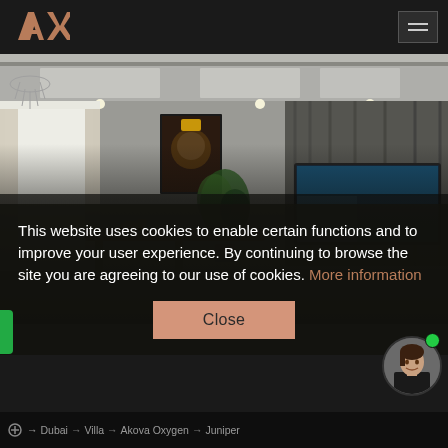[Figure (logo): AX logo in copper/rose gold color on dark background]
[Figure (photo): Luxury villa interior room with chandelier, dining table, wall art portrait, large TV on textured grey wall, and plants. Semi-transparent dark overlay on lower half.]
This website uses cookies to enable certain functions and to improve your user experience. By continuing to browse the site you are agreeing to our use of cookies. More information
Close
[Figure (photo): Chat avatar: woman in black blazer with green online indicator dot]
Dubai → Villa → Akova Oxygen → Juniper